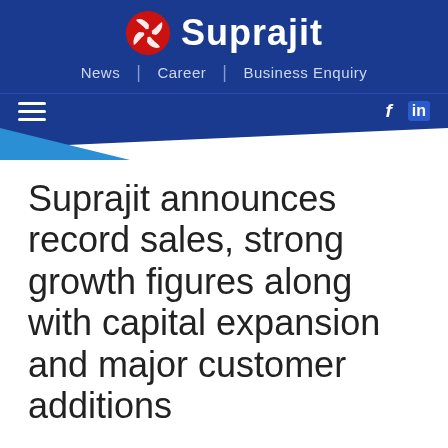[Figure (logo): Suprajit company logo with red pinwheel icon and white text on dark blue background, with navigation links: News, Career, Business Enquiry]
News | Career | Business Enquiry
Suprajit announces record sales, strong growth figures along with capital expansion and major customer additions
Corporate Announcement - 30.05.11